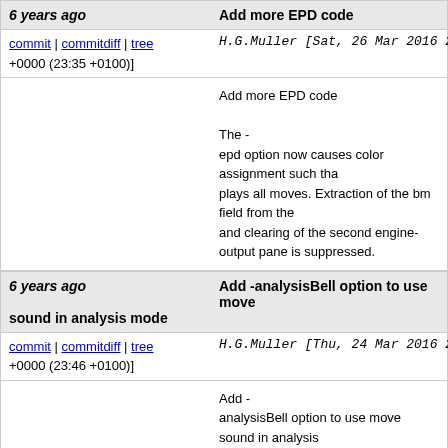6 years ago   Add more EPD code
commit | commitdiff | tree   H.G.Muller [Sat, 26 Mar 2016 22:35:51 +0000 (23:35 +0100)]
Add more EPD code

The -
epd option now causes color assignment such that plays all moves. Extraction of the bm field from the and clearing of the second engine-output pane is suppressed.
6 years ago   Add -analysisBell option to use move sound in analysis mode
commit | commitdiff | tree   H.G.Muller [Thu, 24 Mar 2016 22:46:01 +0000 (23:46 +0100)]
Add -
analysisBell option to use move sound in analysis

The persistent integer option -
analysisBell can be used to let the
move sound play in analysis mode for every PV th
dely (in seconds) it specifies has elapsed since the
search started.